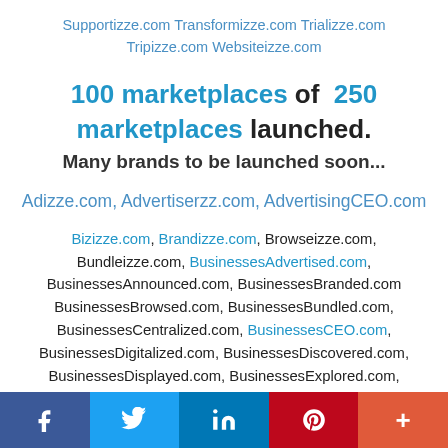Supportizze.com Transformizze.com Trializze.com Tripizze.com Websiteizze.com
100 marketplaces of 250 marketplaces launched. Many brands to be launched soon…
Adizze.com, Advertiserzz.com, AdvertisingCEO.com
Bizizze.com, Brandizze.com, Browseizze.com, Bundleizze.com, BusinessesAdvertised.com, BusinessesAnnounced.com, BusinessesBranded.com BusinessesBrowsed.com, BusinessesBundled.com, BusinessesCentralized.com, BusinessesCEO.com, BusinessesDigitalized.com, BusinessesDiscovered.com, BusinessesDisplayed.com, BusinessesExplored.com, BusinessesFeatured.com, BusinessesFollowed.com, BusinessesFound.com, BusinessesHighlighted.com.
f  t  in  P  +